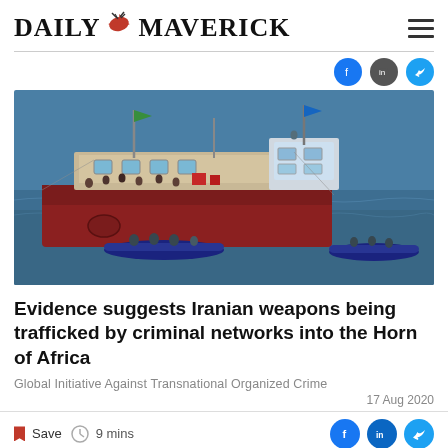DAILY MAVERICK
[Figure (photo): A large wooden dhow vessel with red/brown hull being intercepted by military personnel in small inflatable boats on open blue sea water. People visible on deck of the dhow.]
Evidence suggests Iranian weapons being trafficked by criminal networks into the Horn of Africa
Global Initiative Against Transnational Organized Crime
17 Aug 2020